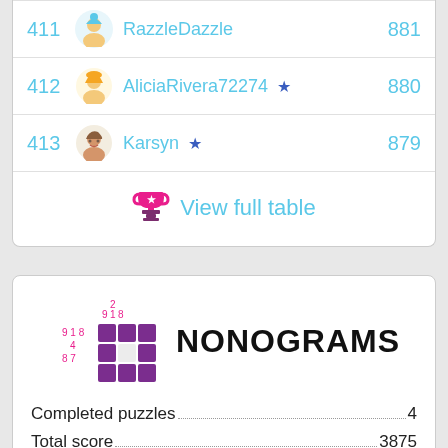| Rank | Player | Score |
| --- | --- | --- |
| 411 | RazzleDazzle | 881 |
| 412 | AliciaRivera72274 ★ | 880 |
| 413 | Karsyn ★ | 879 |
View full table
[Figure (logo): Nonograms app logo with grid and numbers]
NONOGRAMS
Completed puzzles...4
Total score...3875
| Rank | Player | Total score |
| --- | --- | --- |
| 1 | Sophief29 ★ | 41888500 |